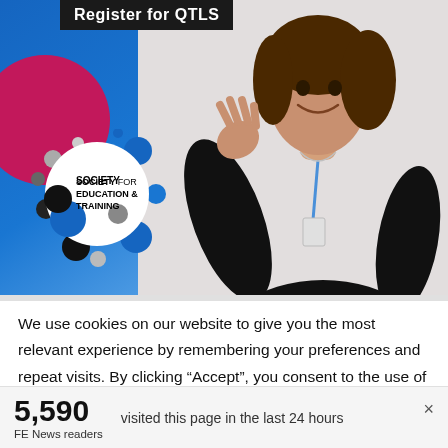[Figure (photo): Society for Education and Training promotional banner showing a smiling woman in black top with lanyard, gesturing with her hand. Blue and magenta decorative circles on left. 'Register for QTLS' banner at top. Society for Education & Training logo circle bottom-left.]
We use cookies on our website to give you the most relevant experience by remembering your preferences and repeat visits. By clicking “Accept”, you consent to the use of ALL the cookies. However you may visit Cookie
5,590
FE News readers
visited this page in the last 24 hours